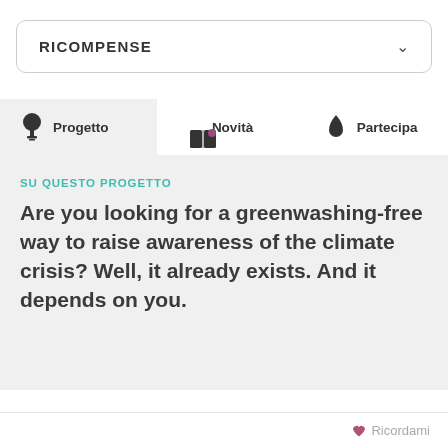RICOMPENSE
[Figure (screenshot): Tab navigation bar with three tabs: Progetto (active, with tree icon), Novità (with open book and dot icon), Partecipa (with water drop icon)]
SU QUESTO PROGETTO
Are you looking for a greenwashing-free way to raise awareness of the climate crisis? Well, it already exists. And it depends on you.
Ricordami